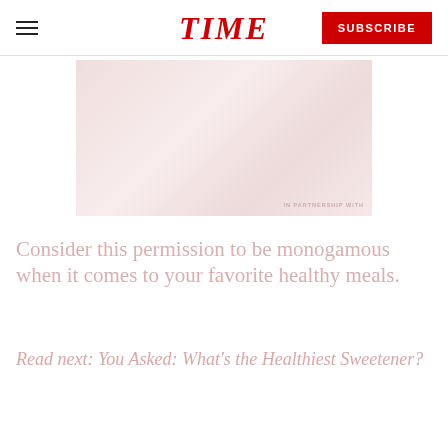TIME | SUBSCRIBE
[Figure (photo): A faded/washed-out photo of a person cooking or preparing food, with an 'IN PARTNERSHIP WITH' badge in the lower right corner. The image has a very light pinkish-white tone.]
Consider this permission to be monogamous when it comes to your favorite healthy meals.
Read next: You Asked: What's the Healthiest Sweetener?